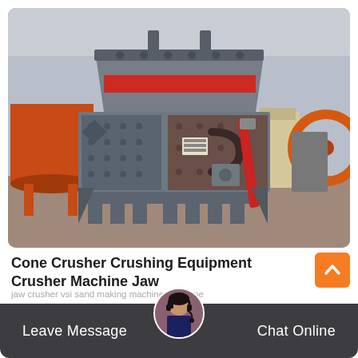[Figure (photo): Industrial cone crusher / impact crusher machine in a factory warehouse setting. The large gray steel machine dominates the foreground. Other industrial equipment visible in the background including orange and beige machinery. Concrete floor visible.]
Cone Crusher Crushing Equipment Crusher Machine Jaw
jaw crusher vsi sand making machine hpc cone
Leave Message
Chat Online